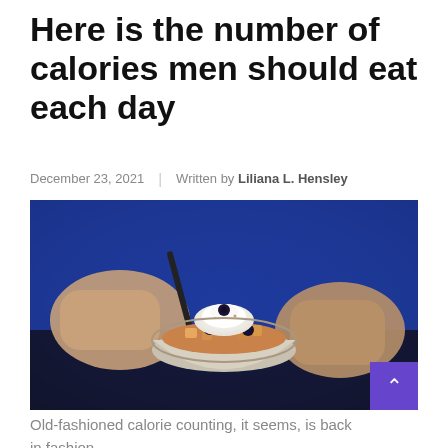Here is the number of calories men should eat each day
December 23, 2021 | Written by Liliana L. Hensley
[Figure (photo): A man in a blue shirt holding a white bowl of food with a spoon, topped with whipped cream and blueberries.]
Old-fashioned calorie counting, it seems, is back in fashion.